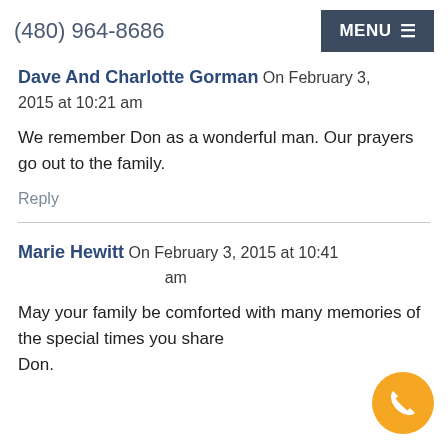(480) 964-8686  MENU
Dave And Charlotte Gorman  On February 3, 2015 at 10:21 am
We remember Don as a wonderful man. Our prayers go out to the family.
Reply
Marie Hewitt  On February 3, 2015 at 10:41 am
May your family be comforted with many memories of the special times you shared with Don.